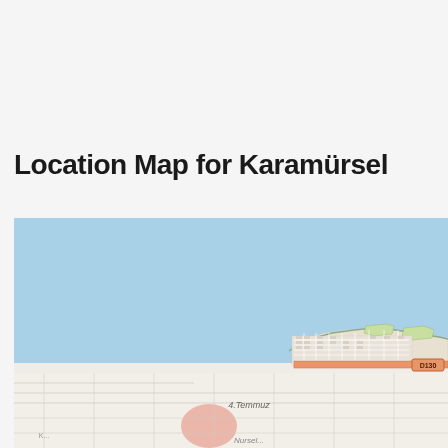Location Map for Karamürsel
[Figure (map): Location map showing Karamürsel, Turkey. The upper portion shows a light blue water body (Sea of Marmara). The lower portion shows the town of Karamürsel with street grid, roads including D130 highway marked in an orange/red badge, green park areas, and neighborhood labels including '4.Temmuz' and partial text. The coastline runs diagonally across the lower half of the map.]